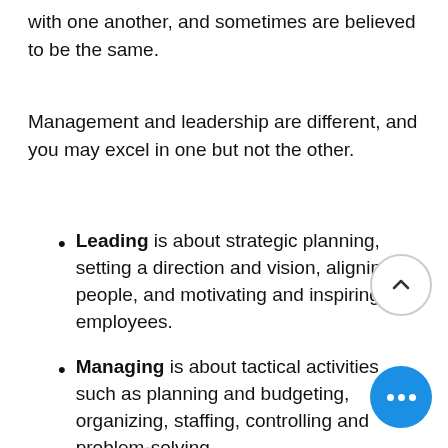with one another, and sometimes are believed to be the same.
Management and leadership are different, and you may excel in one but not the other.
Leading is about strategic planning, setting a direction and vision, aligning people, and motivating and inspiring employees.
Managing is about tactical activities such as planning and budgeting, organizing, staffing, controlling and problem-solving.